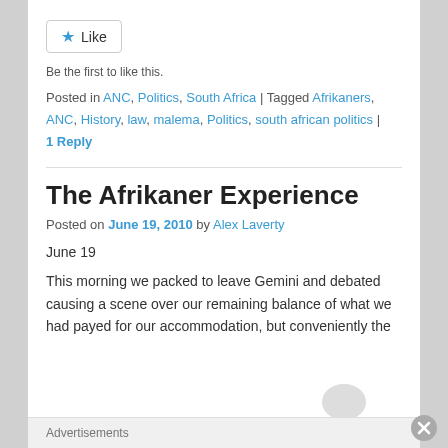Like
Be the first to like this.
Posted in ANC, Politics, South Africa | Tagged Afrikaners, ANC, History, law, malema, Politics, south african politics | 1 Reply
The Afrikaner Experience
Posted on June 19, 2010 by Alex Laverty
June 19
This morning we packed to leave Gemini and debated causing a scene over our remaining balance of what we had payed for our accommodation, but conveniently the
Advertisements